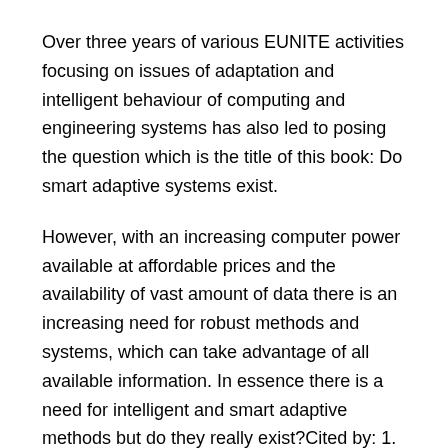Over three years of various EUNITE activities focusing on issues of adaptation and intelligent behaviour of computing and engineering systems has also led to posing the question which is the title of this book: Do smart adaptive systems exist.
However, with an increasing computer power available at affordable prices and the availability of vast amount of data there is an increasing need for robust methods and systems, which can take advantage of all available information. In essence there is a need for intelligent and smart adaptive methods but do they really exist?Cited by: 1.
Get this from a library. Do smart Do Smart Adaptive Systems Exist? book systems exist?: best practice for selection and combination of intelligent methods. [Bogdan Gabrys; Kauko Leiviskä; Jens Strackeljan;] -- "Do Smart Adaptive Systems Exist. is intended as a reference and a guide summarising and focusing on best practices when using intelligent techniques and building systems requiring a degree of.
A very good book for neophytes in adaptive control as well as those